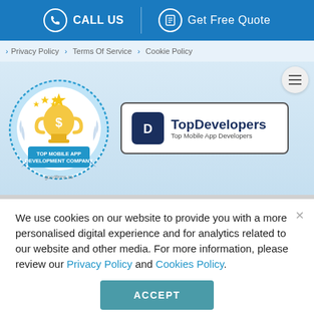CALL US | Get Free Quote
> Privacy Policy > Terms Of Service > Cookie Policy
[Figure (logo): Goodfirms.co Top Mobile App Development Company badge with trophy and stars]
[Figure (logo): TopDevelopers Top Mobile App Developers logo box]
We use cookies on our website to provide you with a more personalised digital experience and for analytics related to our website and other media. For more information, please review our Privacy Policy and Cookies Policy.
ACCEPT